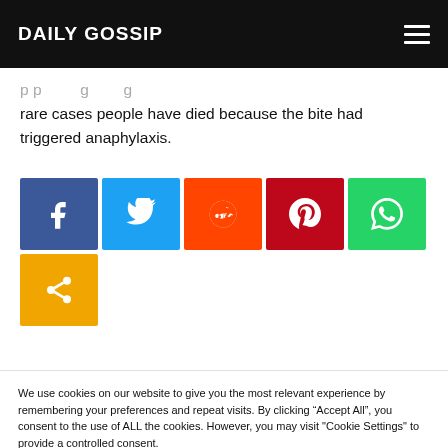DAILY GOSSIP
rare cases people have died because the bite had triggered anaphylaxis.
[Figure (other): Social media share buttons: Facebook, Twitter, Reddit, Pinterest, WhatsApp, Share]
We use cookies on our website to give you the most relevant experience by remembering your preferences and repeat visits. By clicking “Accept All”, you consent to the use of ALL the cookies. However, you may visit "Cookie Settings" to provide a controlled consent.